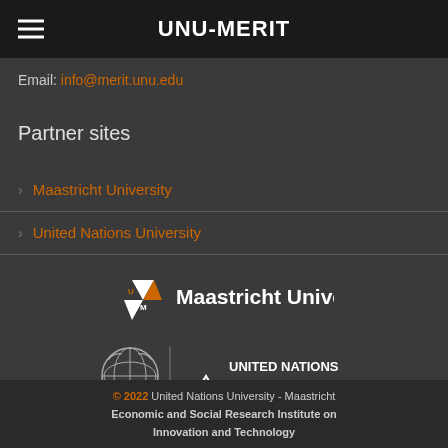UNU-MERIT
Email: info@merit.unu.edu
Partner sites
Maastricht University
United Nations University
[Figure (logo): Maastricht University logo with triangular UM mark and text 'Maastricht University']
[Figure (logo): United Nations University logo with UN globe emblem and text 'UNITED NATIONS UNIVERSITY']
© 2022 United Nations University - Maastricht Economic and Social Research Institute on Innovation and Technology